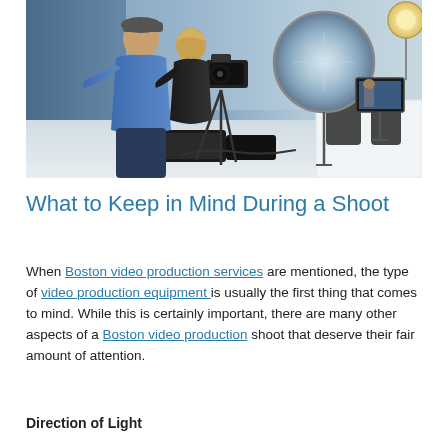[Figure (photo): A video production crew on set. A person in a blue shirt stands next to a person operating a professional camera on a tripod. A circular reflector disc and a monitor on a stand are visible in the background, along with production equipment and lighting gear in a modern indoor space.]
What to Keep in Mind During a Shoot
When Boston video production services are mentioned, the type of video production equipment is usually the first thing that comes to mind. While this is certainly important, there are many other aspects of a Boston video production shoot that deserve their fair amount of attention.
Direction of Light